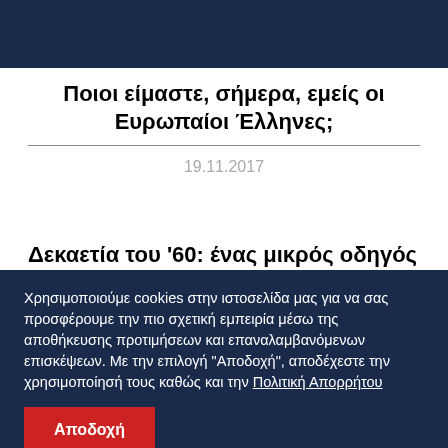Ποιοι είμαστε, σήμερα, εμείς οι Ευρωπαίοι Έλληνες;
19.11.2017
Δεκαετία του '60: ένας μικρός οδηγός
Χρησιμοποιούμε cookies στην ιστοσελίδα μας για να σας προσφέρουμε την πιο σχετική εμπειρία μέσω της αποθήκευσης προτιμήσεων και επαναλαμβανόμενων επισκέψεων. Με την επιλογή "Αποδοχή", αποδέχεστε την χρησιμοποίρησή τους καθώς και την Πολιτική Απορρήτου
Αποδοχή